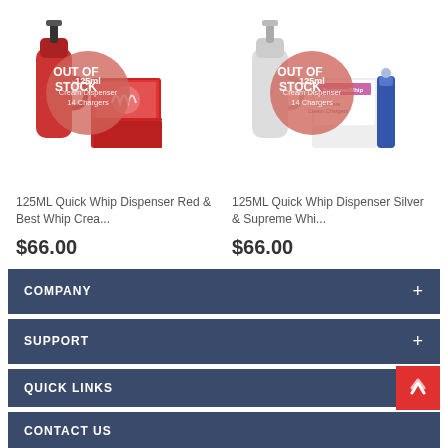[Figure (photo): 125ML Quick Whip Dispenser Red & Best Whip cream chargers product image with 'OUT OF STOCK' badge overlay. Shows red dispenser and red charger box. Badge text: 125ml Cream Dispenser 14 Chargers]
[Figure (photo): 125ML Quick Whip Dispenser Silver & Supreme Whip cream chargers product image with 'OUT OF STOCK' badge overlay. Shows silver/white dispenser and white/blue charger box. Badge text: 125ml Cream Dispenser 14 Chargers]
125ML Quick Whip Dispenser Red & Best Whip Crea...
$66.00
125ML Quick Whip Dispenser Silver & Supreme Whi...
$66.00
COMPANY +
SUPPORT +
QUICK LINKS
CONTACT US